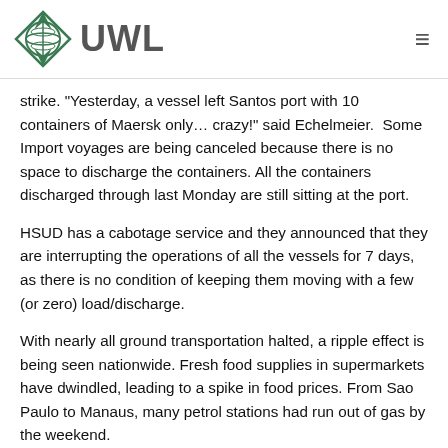UWL
strike. "Yesterday, a vessel left Santos port with 10 containers of Maersk only… crazy!" said Echelmeier.  Some Import voyages are being canceled because there is no space to discharge the containers. All the containers discharged through last Monday are still sitting at the port.
HSUD has a cabotage service and they announced that they are interrupting the operations of all the vessels for 7 days, as there is no condition of keeping them moving with a few (or zero) load/discharge.
With nearly all ground transportation halted, a ripple effect is being seen nationwide. Fresh food supplies in supermarkets have dwindled, leading to a spike in food prices. From Sao Paulo to Manaus, many petrol stations had run out of gas by the weekend.
“There is not a single gas station in our area with fuel,”